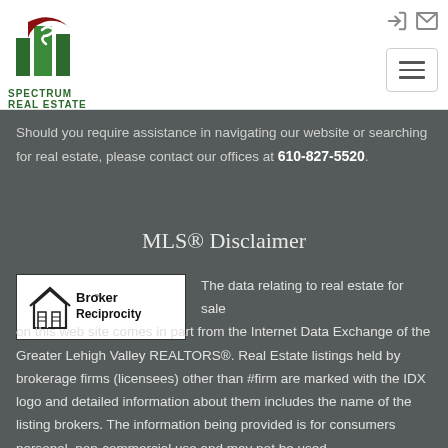[Figure (logo): Spectrum Real Estate logo with green building graphic and dark red accent, company name below]
Should you require assistance in navigating our website or searching for real estate, please contact our offices at 610-827-5520.
MLS® Disclaimer
[Figure (logo): Broker Reciprocity logo — house icon with text Broker Reciprocity on white background]
The data relating to real estate for sale on this web site comes in part from the Internet Data Exchange of the Greater Lehigh Valley REALTORS®. Real Estate listings held by brokerage firms (licensees) other than #firm are marked with the IDX logo and detailed information about them includes the name of the listing brokers. The information being provided is for consumers personal, non-commercial use and may not be used